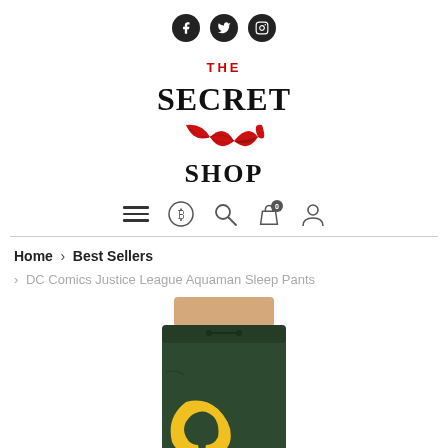[Figure (logo): Social media icons: Facebook, Twitter, Instagram — black circles with white icons]
[Figure (logo): The Secret Shop logo: black text 'THE SECRET SHOP' in an arc with red lips illustration in the center]
[Figure (other): Navigation bar with hamburger menu, Bitcoin icon, search icon, shopping bag with badge '0', and user/profile icon]
Home > Best Sellers
> DC Comics Justice League Aquaman Sleep Pants
[Figure (photo): Product photo of DC Comics Justice League Aquaman Sleep Pants — dark green sweatpants with yellow Aquaman logo on the leg, worn by a person]